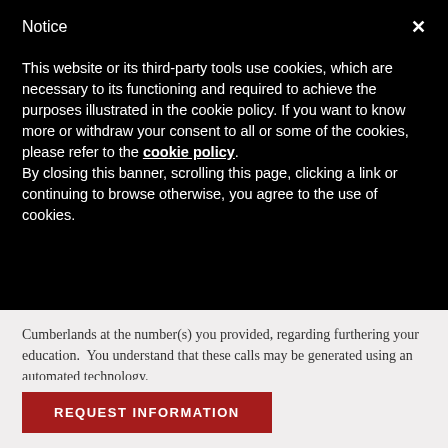Notice
This website or its third-party tools use cookies, which are necessary to its functioning and required to achieve the purposes illustrated in the cookie policy. If you want to know more or withdraw your consent to all or some of the cookies, please refer to the cookie policy.
By closing this banner, scrolling this page, clicking a link or continuing to browse otherwise, you agree to the use of cookies.
Cumberlands at the number(s) you provided, regarding furthering your education. You understand that these calls may be generated using an automated technology.
REQUEST INFORMATION